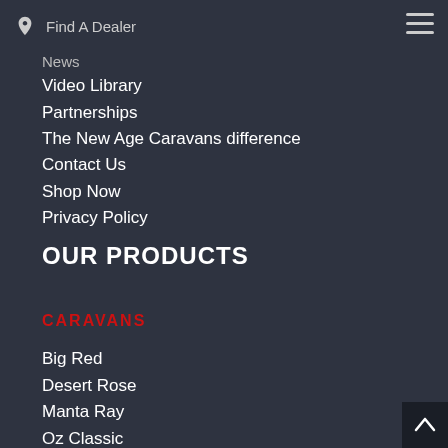Find A Dealer
News
Video Library
Partnerships
The New Age Caravans difference
Contact Us
Shop Now
Privacy Policy
OUR PRODUCTS
CARAVANS
Big Red
Desert Rose
Manta Ray
Oz Classic
MY22 Road Owl
Xu